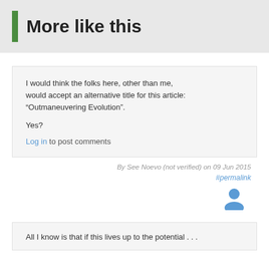More like this
I would think the folks here, other than me, would accept an alternative title for this article: “Outmaneuvering Evolution”.

Yes?

Log in to post comments
By See Noevo (not verified) on 09 Jun 2015
#permalink
[Figure (illustration): User avatar icon in blue]
All I know is that if this lives up to the potential . . .